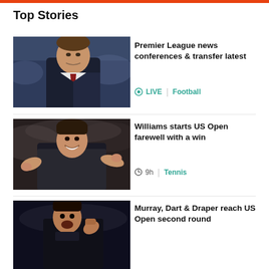Top Stories
[Figure (photo): Man in suit, Premier League manager at football ground]
Premier League news conferences & transfer latest
LIVE | Football
[Figure (photo): Serena Williams smiling and gesturing at US Open]
Williams starts US Open farewell with a win
9h | Tennis
[Figure (photo): Andy Murray at US Open, fist pumping]
Murray, Dart & Draper reach US Open second round